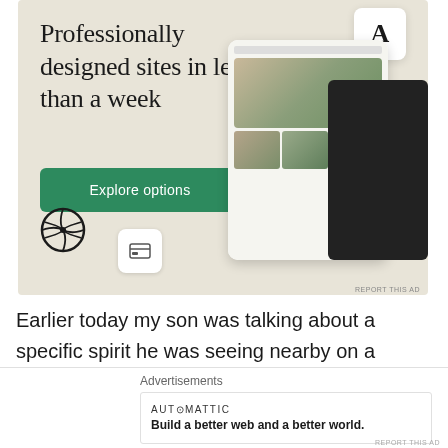[Figure (screenshot): WordPress advertisement banner with beige background showing 'Professionally designed sites in less than a week' headline, green Explore options button, WordPress logo, and website/phone mockup images on the right side]
Earlier today my son was talking about a specific spirit he was seeing nearby on a wall. He was really descriptive. As you may have guessed he inherited the family paranormal trait. I work closely with him
Advertisements
[Figure (screenshot): Automattic advertisement with logo text 'AUTOMATTIC' and tagline 'Build a better web and a better world.']